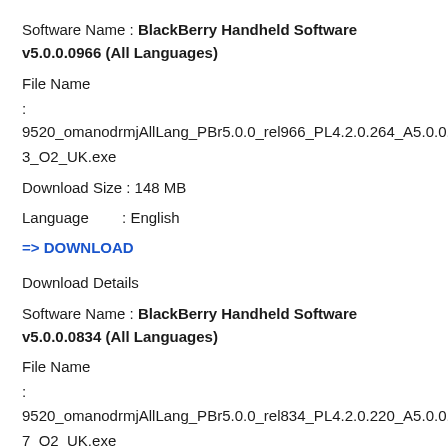Software Name : BlackBerry Handheld Software v5.0.0.0966 (All Languages)
File Name
: 9520_omanodrmjAllLang_PBr5.0.0_rel966_PL4.2.0.264_A5.0.0.553_O2_UK.exe
Download Size : 148 MB
Language       : English
=> DOWNLOAD
Download Details
Software Name : BlackBerry Handheld Software v5.0.0.0834 (All Languages)
File Name
: 9520_omanodrmjAllLang_PBr5.0.0_rel834_PL4.2.0.220_A5.0.0.497_O2_UK.exe
Download Size : 148 MB
Language       : English
=> DOWNLOAD